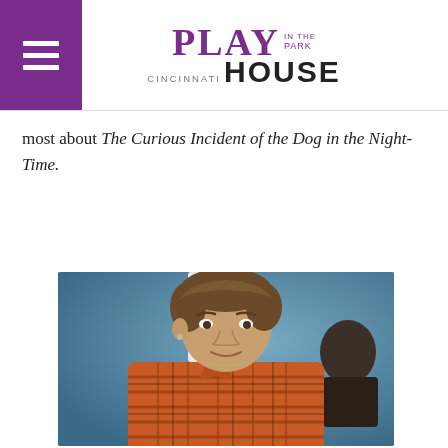Cincinnati Playhouse in the Park
most about The Curious Incident of the Dog in the Night-Time.
[Figure (photo): A man in an orange plaid shirt sits in the foreground looking slightly upward with a quizzical expression. Behind him stands a person in a white shirt and blue pants, and to the right is another person in the background. The setting appears to be a theater stage with a blue backdrop.]